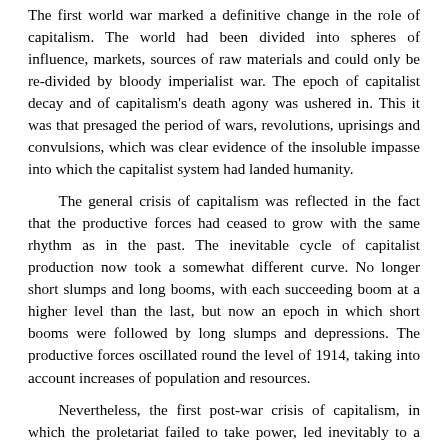The first world war marked a definitive change in the role of capitalism. The world had been divided into spheres of influence, markets, sources of raw materials and could only be re-divided by bloody imperialist war. The epoch of capitalist decay and of capitalism's death agony was ushered in. This it was that presaged the period of wars, revolutions, uprisings and convulsions, which was clear evidence of the insoluble impasse into which the capitalist system had landed humanity.

The general crisis of capitalism was reflected in the fact that the productive forces had ceased to grow with the same rhythm as in the past. The inevitable cycle of capitalist production now took a somewhat different curve. No longer short slumps and long booms, with each succeeding boom at a higher level than the last, but now an epoch in which short booms were followed by long slumps and depressions. The productive forces oscillated round the level of 1914, taking into account increases of population and resources.

Nevertheless, the first post-war crisis of capitalism, in which the proletariat failed to take power, led inevitably to a new economic boom. The partial collapse immediately after 1921 did not last long or have major effects. In most countries of the world, the figures of production in 1929 were higher than those of